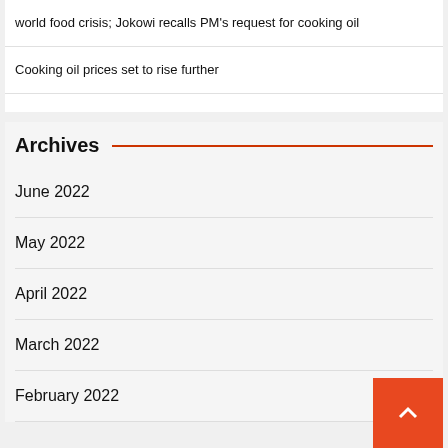world food crisis; Jokowi recalls PM's request for cooking oil
Cooking oil prices set to rise further
Archives
June 2022
May 2022
April 2022
March 2022
February 2022